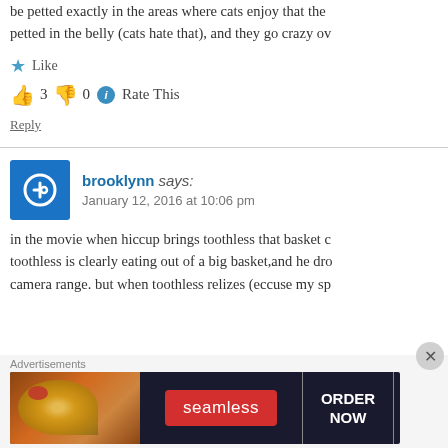be petted exactly in the areas where cats enjoy that the petted in the belly (cats hate that), and they go crazy ov
★ Like
👍 3  👎 0  ℹ Rate This
Reply
brooklynn says:
January 12, 2016 at 10:06 pm
in the movie when hiccup brings toothless that basket c toothless is clearly eating out of a big basket,and he dro camera range. but when toothless relizes (eccuse my sp
Advertisements
[Figure (screenshot): Seamless food delivery advertisement banner with pizza image, Seamless logo in red, and ORDER NOW button]